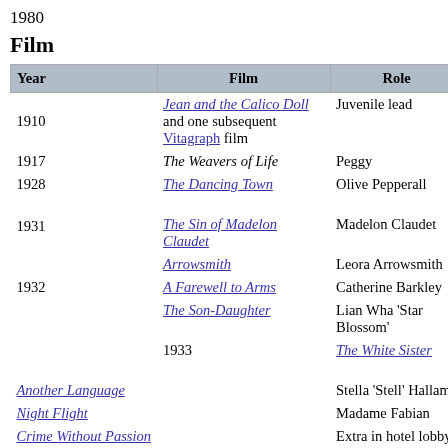1980
Film
| Year | Film | Role | Notes |
| --- | --- | --- | --- |
| 1910 | Jean and the Calico Doll and one subsequent Vitagraph film | Juvenile lead | [28][29] |
| 1917 | The Weavers of Life | Peggy |  |
| 1928 | The Dancing Town | Olive Pepperall | Short subject |
| 1931 | The Sin of Madelon Claudet | Madelon Claudet |  |
| 1931 | Arrowsmith | Leora Arrowsmith |  |
| 1932 | A Farewell to Arms | Catherine Barkley |  |
| 1932 | The Son-Daughter | Lian Wha 'Star Blossom' |  |
| 1933 | The White Sister | Angela Chiaromonte |  |
| 1933 | Another Language | Stella 'Stell' Hallam |  |
| 1933 | Night Flight | Madame Fabian |  |
| 1933 | Crime Without Passion | Extra in hotel lobby | Uncredited |